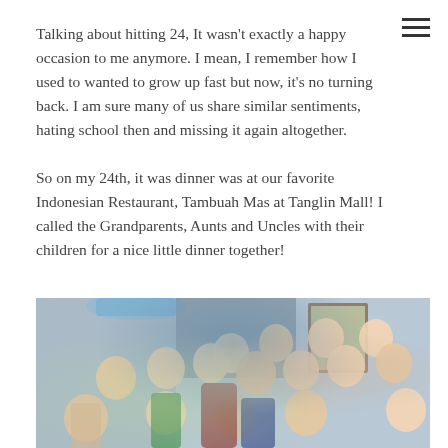Talking about hitting 24, It wasn't exactly a happy occasion to me anymore. I mean, I remember how I used to wanted to grow up fast but now, it's no turning back. I am sure many of us share similar sentiments, hating school then and missing it again altogether.
So on my 24th, it was dinner was at our favorite Indonesian Restaurant, Tambuah Mas at Tanglin Mall! I called the Grandparents, Aunts and Uncles with their children for a nice little dinner together!
[Figure (photo): A group photo of a large family gathering at a restaurant, showing multiple generations including grandparents, aunts, uncles and children, posing together and smiling at the camera.]